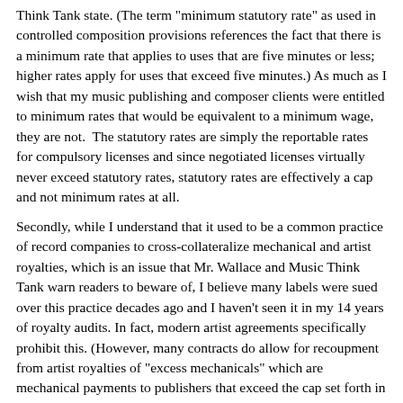Think Tank state. (The term "minimum statutory rate" as used in controlled composition provisions references the fact that there is a minimum rate that applies to uses that are five minutes or less; higher rates apply for uses that exceed five minutes.) As much as I wish that my music publishing and composer clients were entitled to minimum rates that would be equivalent to a minimum wage, they are not.  The statutory rates are simply the reportable rates for compulsory licenses and since negotiated licenses virtually never exceed statutory rates, statutory rates are effectively a cap and not minimum rates at all.
Secondly, while I understand that it used to be a common practice of record companies to cross-collateralize mechanical and artist royalties, which is an issue that Mr. Wallace and Music Think Tank warn readers to beware of, I believe many labels were sued over this practice decades ago and I haven't seen it in my 14 years of royalty audits. In fact, modern artist agreements specifically prohibit this. (However, many contracts do allow for recoupment from artist royalties of "excess mechanicals" which are mechanical payments to publishers that exceed the cap set forth in applicable controlled composition provisions. Despite this, such provisions do not prevent the publisher from collecting royalties and, in practice